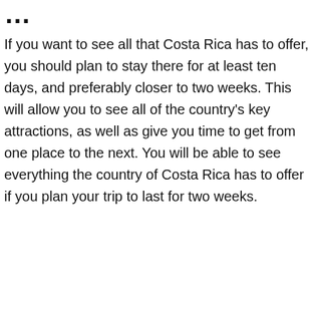…
If you want to see all that Costa Rica has to offer, you should plan to stay there for at least ten days, and preferably closer to two weeks. This will allow you to see all of the country's key attractions, as well as give you time to get from one place to the next. You will be able to see everything the country of Costa Rica has to offer if you plan your trip to last for two weeks.
[Figure (other): Advertisement bar with text cursor and close (X) button in orange]